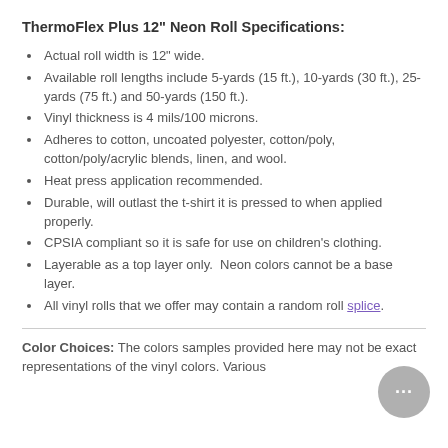ThermoFlex Plus 12" Neon Roll Specifications:
Actual roll width is 12" wide.
Available roll lengths include 5-yards (15 ft.), 10-yards (30 ft.), 25-yards (75 ft.) and 50-yards (150 ft.).
Vinyl thickness is 4 mils/100 microns.
Adheres to cotton, uncoated polyester, cotton/poly, cotton/poly/acrylic blends, linen, and wool.
Heat press application recommended.
Durable, will outlast the t-shirt it is pressed to when applied properly.
CPSIA compliant so it is safe for use on children's clothing.
Layerable as a top layer only.  Neon colors cannot be a base layer.
All vinyl rolls that we offer may contain a random roll splice.
Color Choices: The colors samples provided here may not be exact representations of the vinyl colors. Various